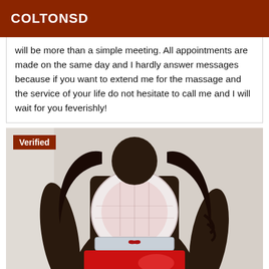COLTONSD
will be more than a simple meeting. All appointments are made on the same day and I hardly answer messages because if you want to extend me for the massage and the service of your life do not hesitate to call me and I will wait for you feverishly!
[Figure (photo): Person wearing white lace top with red accents and red skirt, with a 'Verified' badge overlay in the top-left corner]